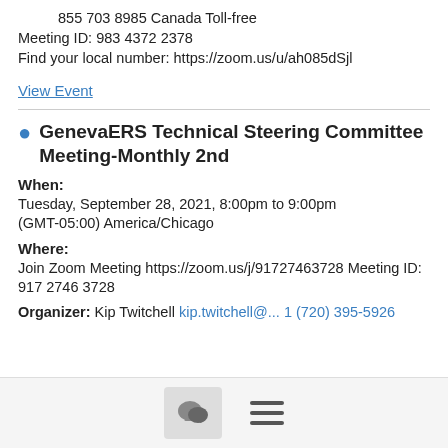855 703 8985 Canada Toll-free
Meeting ID: 983 4372 2378
Find your local number: https://zoom.us/u/ah085dSjl
View Event
GenevaERS Technical Steering Committee Meeting-Monthly 2nd
When:
Tuesday, September 28, 2021, 8:00pm to 9:00pm (GMT-05:00) America/Chicago
Where:
Join Zoom Meeting https://zoom.us/j/91727463728 Meeting ID: 917 2746 3728
Organizer: Kip Twitchell kip.twitchell@... 1 (720) 395-5926